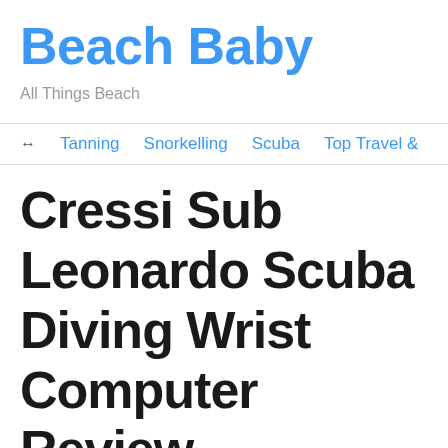Beach Baby
All Things Beach
↔  Tanning    Snorkelling    Scuba    Top Travel &
Cressi Sub Leonardo Scuba Diving Wrist Computer Review
Author: Janis H.
Published: April 23, 2017
1 comment